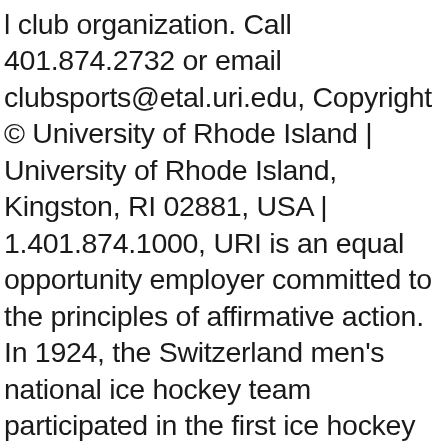l club organization. Call 401.874.2732 or email clubsports@etal.uri.edu, Copyright © University of Rhode Island | University of Rhode Island, Kingston, RI 02881, USA | 1.401.874.1000, URI is an equal opportunity employer committed to the principles of affirmative action. In 1924, the Switzerland men's national ice hockey team participated in the first ice hockey Winter Olympic Games in Chamonix. As a member of the ACHA, we have entered the National Tournament 14 of the past 15 seasons. Come join us as we cheer on our URI Men's Ice Hockey team as they take on Providence College ACHA! Coming Soon. the uri women's ice hockey team plays all of their home games and ice practices at boss ice arena on the campus of the university of rhode island. Any person interested in coaching a team please contact Mike Cordeiro at, This website is powered by SportsEngine's. Athletics/Recreation. NEWS. Adidas Ultimate Long Sleeve